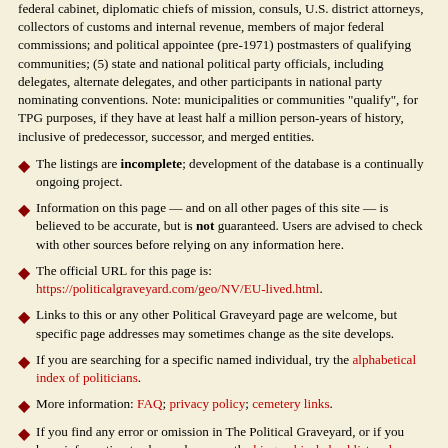federal cabinet, diplomatic chiefs of mission, consuls, U.S. district attorneys, collectors of customs and internal revenue, members of major federal commissions; and political appointee (pre-1971) postmasters of qualifying communities; (5) state and national political party officials, including delegates, alternate delegates, and other participants in national party nominating conventions. Note: municipalities or communities "qualify", for TPG purposes, if they have at least half a million person-years of history, inclusive of predecessor, successor, and merged entities.
The listings are incomplete; development of the database is a continually ongoing project.
Information on this page — and on all other pages of this site — is believed to be accurate, but is not guaranteed. Users are advised to check with other sources before relying on any information here.
The official URL for this page is: https://politicalgraveyard.com/geo/NV/EU-lived.html.
Links to this or any other Political Graveyard page are welcome, but specific page addresses may sometimes change as the site develops.
If you are searching for a specific named individual, try the alphabetical index of politicians.
More information: FAQ; privacy policy; cemetery links.
If you find any error or omission in The Political Graveyard, or if you have information to share, please see the biographical checklist and submission guidelines.
Copyright notices: (1) Facts are not subject to copyright; see Feist v. Rural Telephone. (2) Politician portraits displayed on this site are 70-pixel-wide monochrome thumbnail images, which I believe to constitute fair use under applicable copyright law. Where possible, each image is linked to its online source. However, requests from owners of copyrighted images to delete them from this site are honored. (3) Original material, programming, selection and arrangement are © 1996-2019 Lawrence Kestenbaum. (4) This work is also